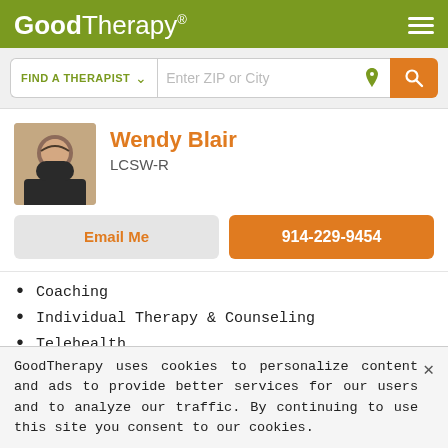GoodTherapy®
FIND A THERAPIST | Enter ZIP or City
Wendy Blair
LCSW-R
Email Me
914-229-9454
Coaching
Individual Therapy & Counseling
Telehealth
AGES I WORK WITH
GoodTherapy uses cookies to personalize content and ads to provide better services for our users and to analyze our traffic. By continuing to use this site you consent to our cookies.